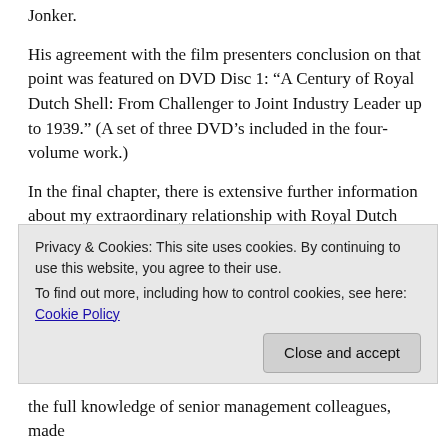Jonker.
His agreement with the film presenters conclusion on that point was featured on DVD Disc 1: “A Century of Royal Dutch Shell: From Challenger to Joint Industry Leader up to 1939.” (A set of three DVD’s included in the four-volume work.)
In the final chapter, there is extensive further information about my extraordinary relationship with Royal Dutch Shell.
ROYAL DUTCH SHELL IN THE 1930’s
In 1933, after Hitler came to power, the Royal Dutch Shell Group publicly boasted about its contribution to the finances of Germany.
The Group, under the control of Dutch directors, was the largest employer in the German oil industry. It boosted the
the full knowledge of senior management colleagues, made